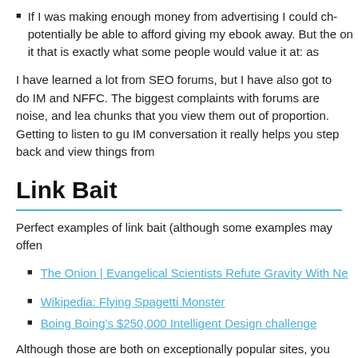If I was making enough money from advertising I could ch potentially be able to afford giving my ebook away. But the on it that is exactly what some people would value it at: as
I have learned a lot from SEO forums, but I have also got to do IM and NFFC. The biggest complaints with forums are noise, and lea chunks that you view them out of proportion. Getting to listen to gu IM conversation it really helps you step back and view things from
Link Bait
Perfect examples of link bait (although some examples may offen
The Onion | Evangelical Scientists Refute Gravity With Ne
Wikipedia: Flying Spagetti Monster
Boing Boing's $250,000 Intelligent Design challenge
Although those are both on exceptionally popular sites, you can d